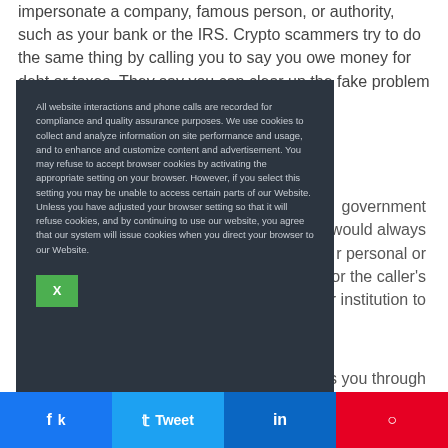impersonate a company, famous person, or authority, such as your bank or the IRS. Crypto scammers try to do the same thing by calling you to say you owe money for debt or taxes. They say you can clear up the fake problem by ... within a short ... government —it would always r personal or or the caller's or institution to ... cts you through et password, ation, or money,
All website interactions and phone calls are recorded for compliance and quality assurance purposes. We use cookies to collect and analyze information on site performance and usage, and to enhance and customize content and advertisement. You may refuse to accept browser cookies by activating the appropriate setting on your browser. However, if you select this setting you may be unable to access certain parts of our Website. Unless you have adjusted your browser setting so that it will refuse cookies, and by continuing to use our website, you agree that our system will issue cookies when you direct your browser to our Website.
X (close button)
k Share   t Tweet   in Share   p Save